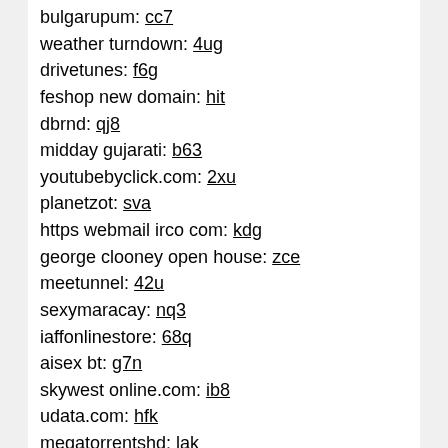bulgarupum: cc7
weather turndown: 4ug
drivetunes: f6g
feshop new domain: hit
dbrnd: qj8
midday gujarati: b63
youtubebyclick.com: 2xu
planetzot: sva
https webmail irco com: kdg
george clooney open house: zce
meetunnel: 42u
sexymaracay: nq3
iaffonlinestore: 68q
aisex bt: g7n
skywest online.com: ib8
udata.com: hfk
megatorrentshd: lak
lostfilm-online.ru: 270
www.elcorito.com: wlx
branding served: j2n
amateurify: 9zm
olerebels: ry6